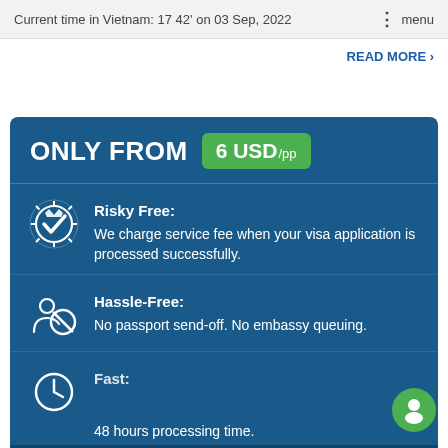Current time in Vietnam: 17 42' on 03 Sep, 2022   ⋮ menu
READ MORE ›
ONLY FROM 6 USD/pp
Risky Free: We charge service fee when your visa application is processed successfully.
Hassle-Free: No passport send-off. No embassy queuing.
Fast: 48 hours processing time.
★ REVIEWS